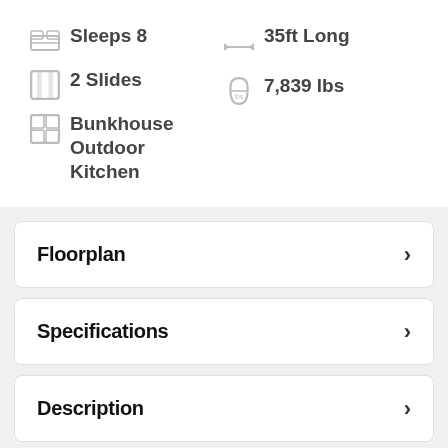Sleeps 8
2 Slides
Bunkhouse Outdoor Kitchen
35ft Long
7,839 lbs
Floorplan
Specifications
Description
Features